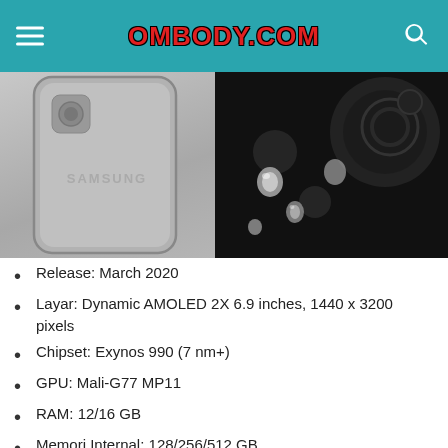OMBODY.COM
[Figure (photo): Two Samsung phone images side by side: left shows the back of a Samsung phone in gray, right shows a macro water droplet photo displayed on a phone screen.]
Release: March 2020
Layar: Dynamic AMOLED 2X 6.9 inches, 1440 x 3200 pixels
Chipset: Exynos 990 (7 nm+)
GPU: Mali-G77 MP11
RAM: 12/16 GB
Memori Internal: 128/256/512 GB
External Memory: microSDXC (uses shared S slot)